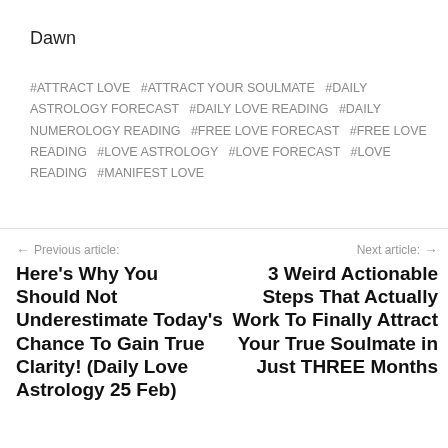Dawn
#ATTRACT LOVE  #ATTRACT YOUR SOULMATE  #DAILY ASTROLOGY FORECAST  #DAILY LOVE READING  #DAILY NUMEROLOGY READING  #FREE LOVE FORECAST  #FREE LOVE READING  #LOVE ASTROLOGY  #LOVE FORECAST  #LOVE READING  #MANIFEST LOVE
← Previous article:
Here's Why You Should Not Underestimate Today's Chance To Gain True Clarity! (Daily Love Astrology 25 Feb)
Next article: →
3 Weird Actionable Steps That Actually Work To Finally Attract Your True Soulmate in Just THREE Months